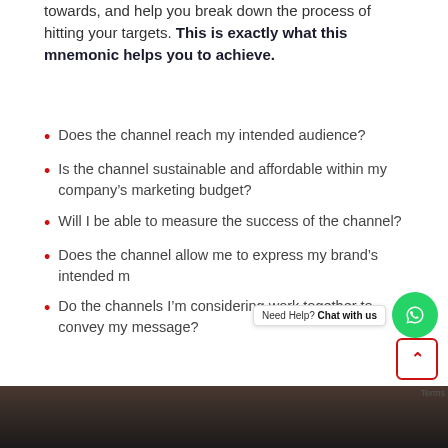towards, and help you break down the process of hitting your targets. This is exactly what this mnemonic helps you to achieve.
Does the channel reach my intended audience?
Is the channel sustainable and affordable within my company's marketing budget?
Will I be able to measure the success of the channel?
Does the channel allow me to express my brand's intended m [Need Help? Chat with us]
Do the channels I'm considering work together to convey my message?
[Figure (photo): Dark photo strip at bottom of page showing a person working at a laptop]